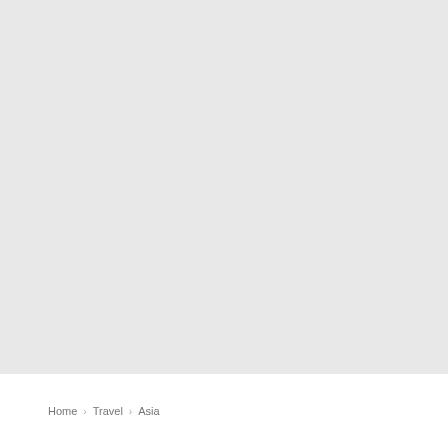[Figure (photo): Large light gray rectangular image placeholder area occupying the top portion of the page]
Home › Travel › Asia